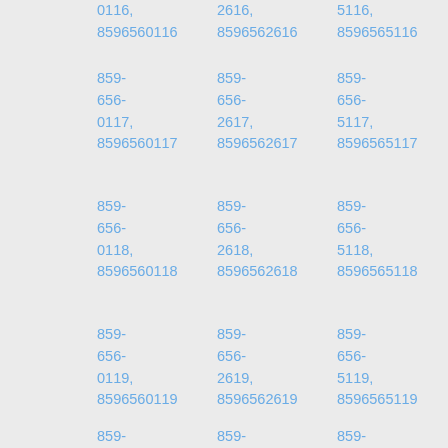0116, 8596560116   2616, 8596562616   5116, 8596565116   7616, 859656
859-656-0117, 8596560117   859-656-2617, 8596562617   859-656-5117, 8596565117   859-656-7617, 859656
859-656-0118, 8596560118   859-656-2618, 8596562618   859-656-5118, 8596565118   859-656-7618, 859656
859-656-0119, 8596560119   859-656-2619, 8596562619   859-656-5119, 8596565119   859-656-7619, 859656
859-   859-   859-   859-